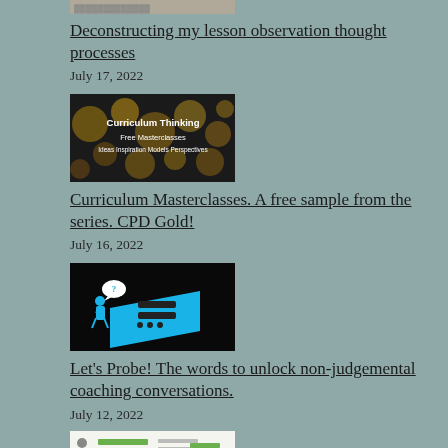[Figure (photo): Thumbnail image for blog post about lesson observation]
Deconstructing my lesson observation thought processes
July 17, 2022
[Figure (photo): Curriculum Thinking – Free Masterclasses, Ideas Inspiration Models Perspectives – bokeh lights background image]
Curriculum Masterclasses. A free sample from the series. CPD Gold!
July 16, 2022
[Figure (illustration): Two blue illustrated figures looking at a large blue tablet/screen with a speech bubble containing a question mark icon]
Let's Probe! The words to unlock non-judgemental coaching conversations.
July 12, 2022
[Figure (infographic): Infographic document with green bar charts, figures and text columns – partially visible at bottom]